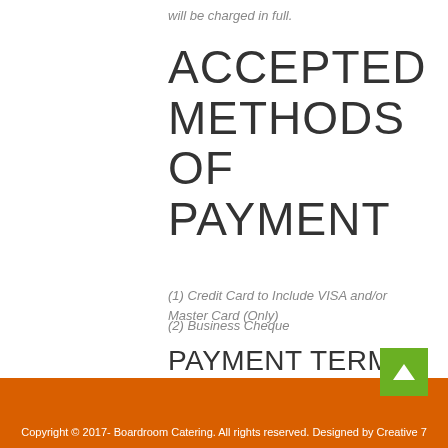will be charged in full.
ACCEPTED METHODS OF PAYMENT
(1) Credit Card to Include VISA and/or Master Card (Only)
(2) Business Cheque
PAYMENT TERMS
Payment is due immediately upon receipt of final invoice, unless prior written arrangements have been made.
Copyright © 2017- Boardroom Catering. All rights reserved. Designed by Creative 7